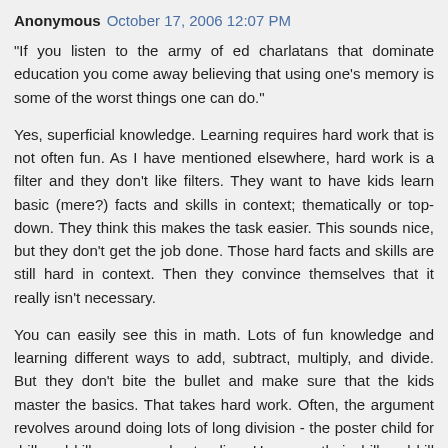Anonymous  October 17, 2006 12:07 PM
"If you listen to the army of ed charlatans that dominate education you come away believing that using one's memory is some of the worst things one can do."
Yes, superficial knowledge. Learning requires hard work that is not often fun. As I have mentioned elsewhere, hard work is a filter and they don't like filters. They want to have kids learn basic (mere?) facts and skills in context; thematically or top-down. They think this makes the task easier. This sounds nice, but they don't get the job done. Those hard facts and skills are still hard in context. Then they convince themselves that it really isn't necessary.
You can easily see this in math. Lots of fun knowledge and learning different ways to add, subtract, multiply, and divide. But they don't bite the bullet and make sure that the kids master the basics. That takes hard work. Often, the argument revolves around doing lots of long division - the poster child for drill and kill versus understanding. However, their drill and kill philosophy extends to more important skills like manipulating fractions. As I have said before, they